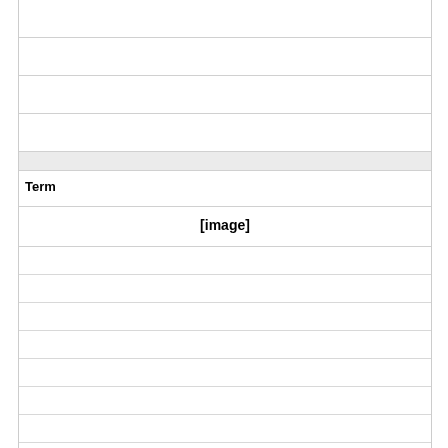| Term | Definition |
| --- | --- |
| [image] | Jacques-Louis David, Napoleon Crossing the Alps at Saint-Bernard |